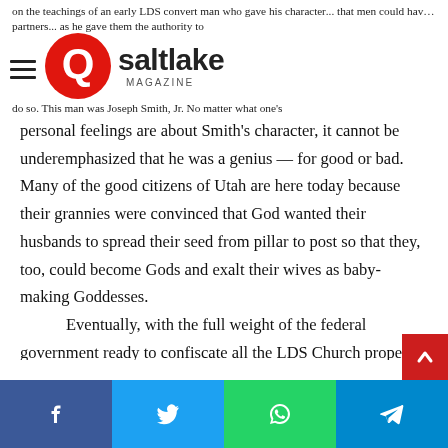on the teachings of an early LDS convert man who gave his character... that men could have as many sexual partners... as he gave them the authority to do so. This man was Joseph Smith, Jr.
[Figure (logo): Q Salt Lake Magazine logo — red circle with Q, white text 'saltlake MAGAZINE']
No matter what one's personal feelings are about Smith's character, it cannot be underemphasized that he was a genius — for good or bad. Many of the good citizens of Utah are here today because their grannies were convinced that God wanted their husbands to spread their seed from pillar to post so that they, too, could become Gods and exalt their wives as baby-making Goddesses.
Eventually, with the full weight of the federal government ready to confiscate all the LDS Church property, church leaders caved and said God really didn't mean everyone had to be a polygamist to get into heaven after all. Some Mormons objected to this line of thought, so today Utah — well, okay, most of